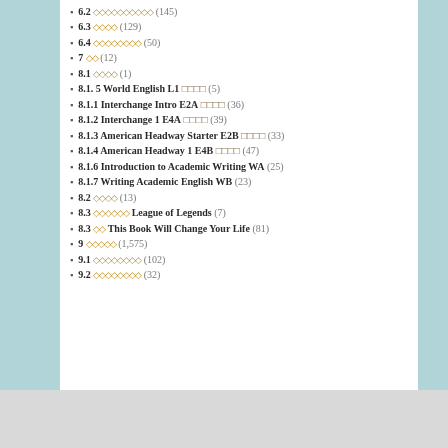6.2 ×××××××××× (145)
6.3 ×××× (129)
6.4 ×××××××× (50)
7 ×× (12)
8.1 ×××× (1)
8.1. 5 World English L1 □□□□ (5)
8.1.1 Interchange Intro E2A □□□□ (36)
8.1.2 Interchange 1 E4A □□□□ (39)
8.1.3 American Headway Starter E2B □□□□ (33)
8.1.4 American Headway 1 E4B □□□□ (47)
8.1.6 Introduction to Academic Writing WA (25)
8.1.7 Writing Academic English WB (23)
8.2 ×××× (13)
8.3 ×××××× League of Legends (7)
8.3 ×× This Book Will Change Your Life (81)
9 ××××× (1,575)
9.1 ×××××××× (102)
9.2 ×××××××× (32)
한국